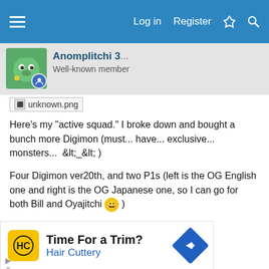Log in  Register
Anomplitchi 3... Well-known member
[Figure (photo): Broken image placeholder labeled unknown.png]
Here's my "active squad." I broke down and bought a bunch more Digimon (must... have... exclusive... monsters...  &lt;_&lt; )
Four Digimon ver20th, and two P1s (left is the OG English one and right is the OG Japanese one, so I can go for both Bill and Oyajitchi 😁 )
[Figure (other): Advertisement for Hair Cuttery: Time For a Trim?]